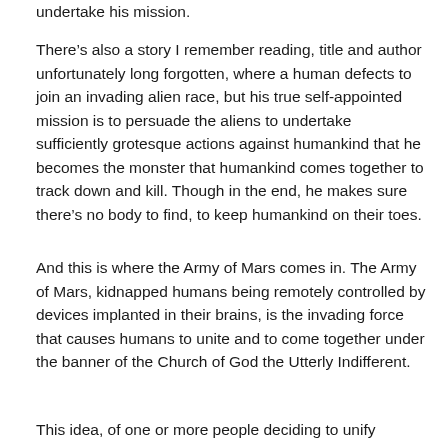undertake his mission.
There's also a story I remember reading, title and author unfortunately long forgotten, where a human defects to join an invading alien race, but his true self-appointed mission is to persuade the aliens to undertake sufficiently grotesque actions against humankind that he becomes the monster that humankind comes together to track down and kill. Though in the end, he makes sure there's no body to find, to keep humankind on their toes.
And this is where the Army of Mars comes in. The Army of Mars, kidnapped humans being remotely controlled by devices implanted in their brains, is the invading force that causes humans to unite and to come together under the banner of the Church of God the Utterly Indifferent.
This idea, of one or more people deciding to unify